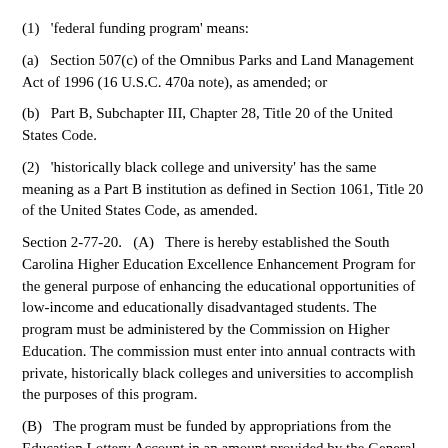(1)   'federal funding program' means:
(a)   Section 507(c) of the Omnibus Parks and Land Management Act of 1996 (16 U.S.C. 470a note), as amended; or
(b)   Part B, Subchapter III, Chapter 28, Title 20 of the United States Code.
(2)   'historically black college and university' has the same meaning as a Part B institution as defined in Section 1061, Title 20 of the United States Code, as amended.
Section 2-77-20.   (A)   There is hereby established the South Carolina Higher Education Excellence Enhancement Program for the general purpose of enhancing the educational opportunities of low-income and educationally disadvantaged students. The program must be administered by the Commission on Higher Education. The commission must enter into annual contracts with private, historically black colleges and universities to accomplish the purposes of this program.
(B)   The program must be funded by appropriations from the Education Lottery Account in an amount provided by the General Assembly.